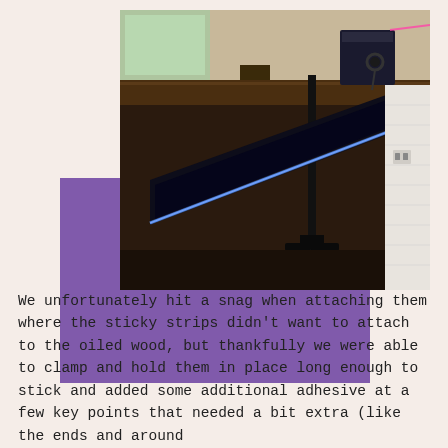[Figure (photo): A gaming/computer desk setup photographed from the side, showing a large monitor with blue LED strip lighting along its edge, a desktop PC tower, cables on a wooden floor, and white wall paneling in the background. The desk surface has a dark wood finish with items on it.]
We unfortunately hit a snag when attaching them where the sticky strips didn't want to attach to the oiled wood, but thankfully we were able to clamp and hold them in place long enough to stick and added some additional adhesive at a few key points that needed a bit extra (like the ends and around